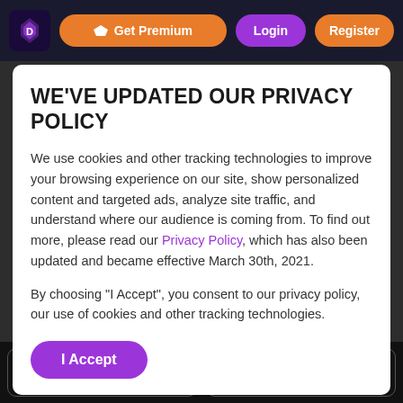Get Premium | Login | Register
WE'VE UPDATED OUR PRIVACY POLICY
We use cookies and other tracking technologies to improve your browsing experience on our site, show personalized content and targeted ads, analyze site traffic, and understand where our audience is coming from. To find out more, please read our Privacy Policy, which has also been updated and became effective March 30th, 2021.
By choosing "I Accept", you consent to our privacy policy, our use of cookies and other tracking technologies.
I Accept
Download on the App Store | GET IT ON Google Play